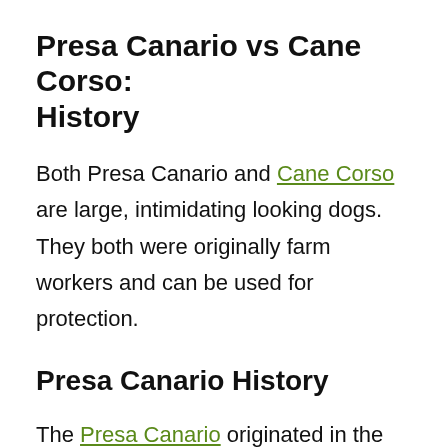Presa Canario vs Cane Corso: History
Both Presa Canario and Cane Corso are large, intimidating looking dogs. They both were originally farm workers and can be used for protection.
Presa Canario History
The Presa Canario originated in the Canary Islands in the 1800s. They were originally used on farms to protect livestock, catch cattle that strayed from